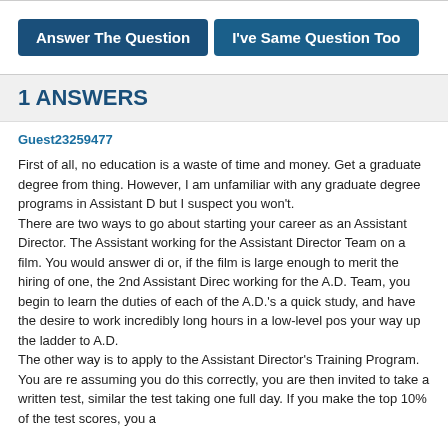[Figure (screenshot): Two dark blue buttons: 'Answer The Question' and 'I've Same Question Too']
1 ANSWERS
Guest23259477
First of all, no education is a waste of time and money. Get a graduate degree from thing. However, I am unfamiliar with any graduate degree programs in Assistant D but I suspect you won't.
There are two ways to go about starting your career as an Assistant Director. The Assistant working for the Assistant Director Team on a film. You would answer di or, if the film is large enough to merit the hiring of one, the 2nd Assistant Direc working for the A.D. Team, you begin to learn the duties of each of the A.D.'s a quick study, and have the desire to work incredibly long hours in a low-level pos your way up the ladder to A.D.
The other way is to apply to the Assistant Director's Training Program. You are re assuming you do this correctly, you are then invited to take a written test, similar the test taking one full day. If you make the top 10% of the test scores, you a